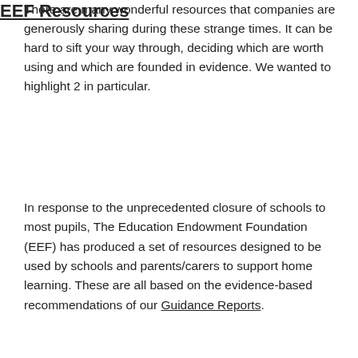There are many wonderful resources that companies are generously sharing during these strange times. It can be hard to sift your way through, deciding which are worth using and which are founded in evidence. We wanted to highlight 2 in particular.
EEF Resources
In response to the unprecedented closure of schools to most pupils, The Education Endowment Foundation (EEF) has produced a set of resources designed to be used by schools and parents/carers to support home learning. These are all based on the evidence-based recommendations of our Guidance Reports.